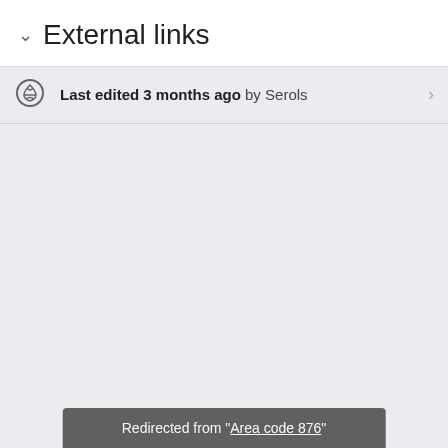External links
Last edited 3 months ago by Serols
Redirected from "Area code 876"